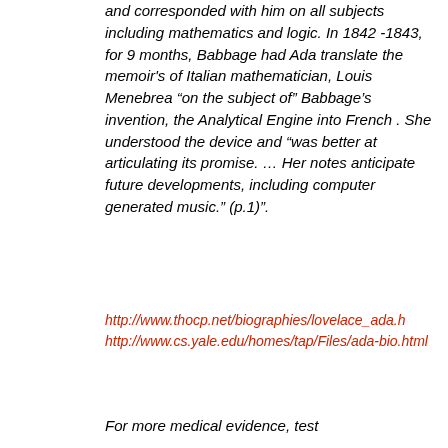and corresponded with him on all subjects including mathematics and logic. In 1842 -1843, for 9 months, Babbage had Ada translate the memoir's of Italian mathematician, Louis Menebrea “on the subject of” Babbage’s invention, the Analytical Engine into French . She understood the device and “was better at articulating its promise. … Her notes anticipate future developments, including computer generated music.” (p.1)”.
http://www.thocp.net/biographies/lovelace_ada.h http://www.cs.yale.edu/homes/tap/Files/ada-bio.html
For more medical evidence, test